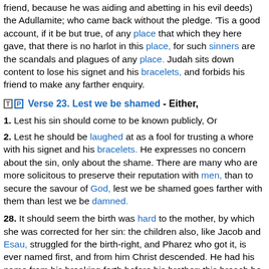friend, because he was aiding and abetting in his evil deeds) the Adullamite; who came back without the pledge. 'Tis a good account, if it be but true, of any place that which they here gave, that there is no harlot in this place, for such sinners are the scandals and plagues of any place. Judah sits down content to lose his signet and his bracelets, and forbids his friend to make any farther enquiry.
Verse 23. Lest we be shamed - Either,
1. Lest his sin should come to be known publicly, Or
2. Lest he should be laughed at as a fool for trusting a whore with his signet and his bracelets. He expresses no concern about the sin, only about the shame. There are many who are more solicitous to preserve their reputation with men, than to secure the savour of God, lest we be shamed goes farther with them than lest we be damned.
28. It should seem the birth was hard to the mother, by which she was corrected for her sin: the children also, like Jacob and Esau, struggled for the birth-right, and Pharez who got it, is ever named first, and from him Christ descended. He had his name from his breaking forth before his brother; this breach be upon thee. The Jews...